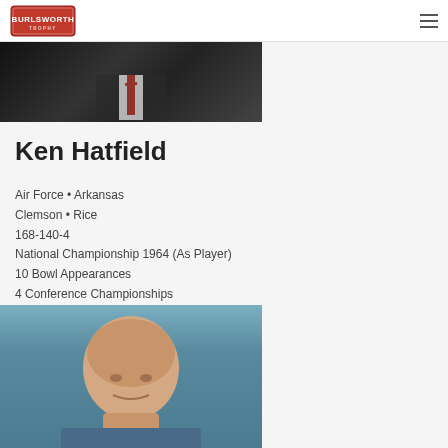Burlsworth Trophy
[Figure (photo): Partial photo of person in suit with tie, dark background, cropped at top]
Ken Hatfield
Air Force • Arkansas
Clemson • Rice
168-140-4
National Championship 1964 (As Player)
10 Bowl Appearances
4 Conference Championships
[Figure (photo): Portrait photo of bald older man against blue-grey background, cropped showing head and upper shoulders]